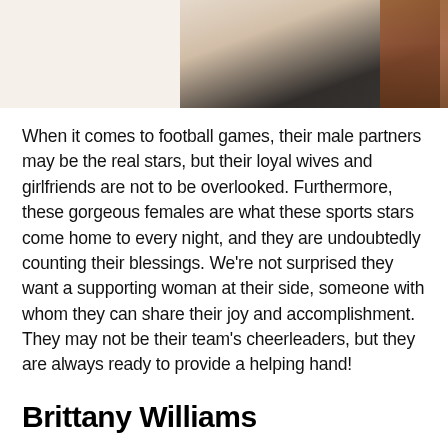[Figure (photo): Partial photo of a person wearing a white crop top and dark jeans with a beige cardigan, standing in front of a brick wall background. Only the torso is visible.]
When it comes to football games, their male partners may be the real stars, but their loyal wives and girlfriends are not to be overlooked. Furthermore, these gorgeous females are what these sports stars come home to every night, and they are undoubtedly counting their blessings. We're not surprised they want a supporting woman at their side, someone with whom they can share their joy and accomplishment. They may not be their team's cheerleaders, but they are always ready to provide a helping hand!
Brittany Williams